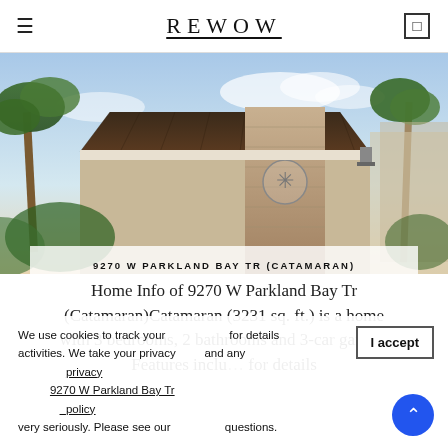REWOW
[Figure (photo): Mediterranean-style home with dark tiled roof, stone pillar with star emblem, and tropical palm trees against a blue sky]
9270 W PARKLAND BAY TR (CATAMARAN)
Home Info of 9270 W Parkland Bay Tr (Catamaran)Catamaran (3231 sq. ft.) is a home with 3 bedrooms, 2 bathrooms and 3-car garage. Features included for details
We use cookies to track your activities. We take your privacy very seriously. Please see our privacy policy and any 9270 W Parkland Bay Tr (Catamaran). questions.